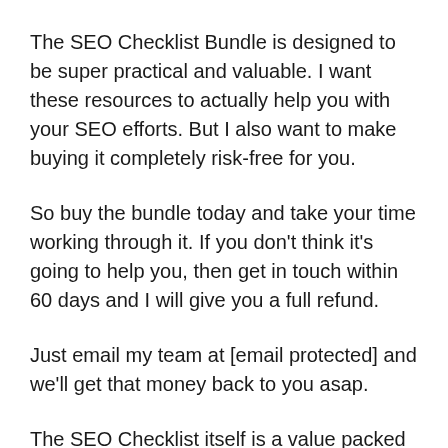The SEO Checklist Bundle is designed to be super practical and valuable. I want these resources to actually help you with your SEO efforts. But I also want to make buying it completely risk-free for you.
So buy the bundle today and take your time working through it. If you don’t think it’s going to help you, then get in touch within 60 days and I will give you a full refund.
Just email my team at [email protected] and we’ll get that money back to you asap.
The SEO Checklist itself is a value packed